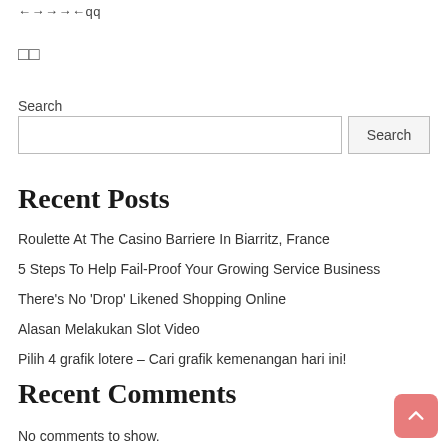←→→→←qq
□□
Search
Recent Posts
Roulette At The Casino Barriere In Biarritz, France
5 Steps To Help Fail-Proof Your Growing Service Business
There's No 'Drop' Likened Shopping Online
Alasan Melakukan Slot Video
Pilih 4 grafik lotere – Cari grafik kemenangan hari ini!
Recent Comments
No comments to show.